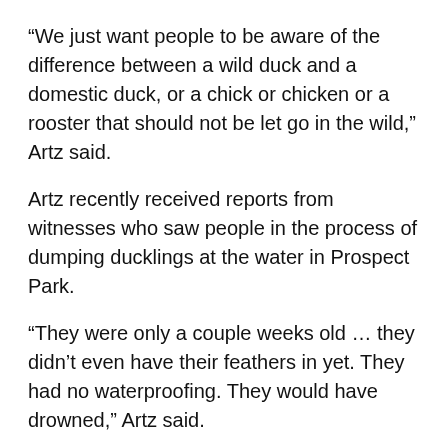“We just want people to be aware of the difference between a wild duck and a domestic duck, or a chick or chicken or a rooster that should not be let go in the wild,” Artz said.
Artz recently received reports from witnesses who saw people in the process of dumping ducklings at the water in Prospect Park.
“They were only a couple weeks old … they didn’t even have their feathers in yet. They had no waterproofing. They would have drowned,” Artz said.
So far this summer, Artz and her team members have rescued eight domestic ducks from city parks. In total, this year, over 20 ducks have been rescued, she said.